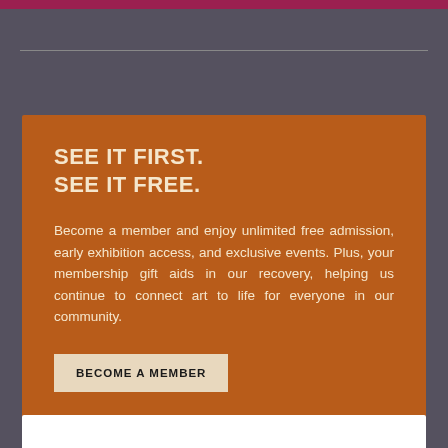SEE IT FIRST.
SEE IT FREE.
Become a member and enjoy unlimited free admission, early exhibition access, and exclusive events. Plus, your membership gift aids in our recovery, helping us continue to connect art to life for everyone in our community.
BECOME A MEMBER